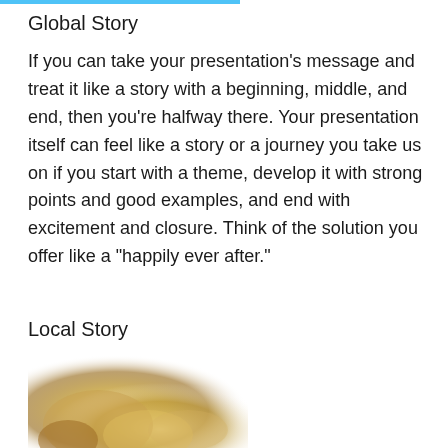Global Story
If you can take your presentation's message and treat it like a story with a beginning, middle, and end, then you're halfway there. Your presentation itself can feel like a story or a journey you take us on if you start with a theme, develop it with strong points and good examples, and end with excitement and closure. Think of the solution you offer like a "happily ever after."
Local Story
[Figure (photo): Blurred warm golden bokeh photo, partially visible at the bottom of the page]